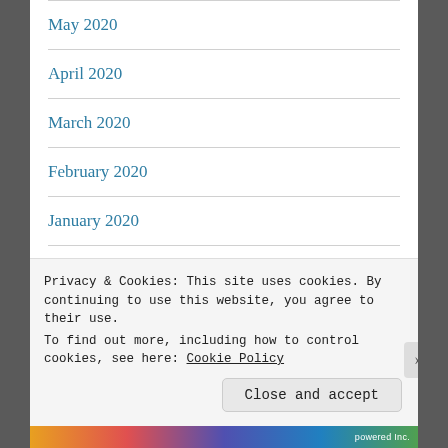May 2020
April 2020
March 2020
February 2020
January 2020
December 2019
November 2019
Privacy & Cookies: This site uses cookies. By continuing to use this website, you agree to their use.
To find out more, including how to control cookies, see here: Cookie Policy
Close and accept